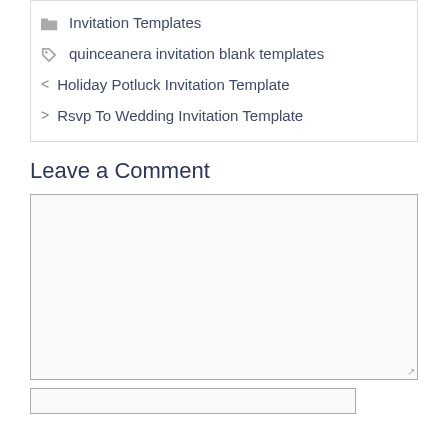Invitation Templates
quinceanera invitation blank templates
Holiday Potluck Invitation Template
Rsvp To Wedding Invitation Template
Leave a Comment
[Figure (other): Large comment textarea input box]
[Figure (other): Smaller text input box at bottom]